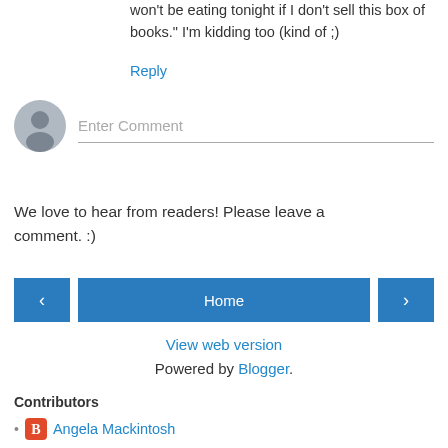won't be eating tonight if I don't sell this box of books." I'm kidding too (kind of ;)
Reply
[Figure (illustration): User avatar circle with generic person silhouette and comment input box below]
We love to hear from readers! Please leave a comment. :)
< Home >
View web version
Powered by Blogger.
Contributors
Angela Mackintosh